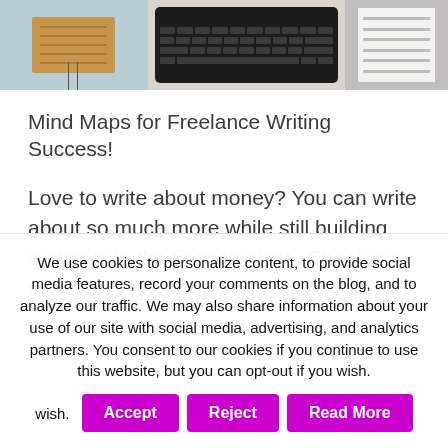[Figure (photo): Hero image showing a desk scene with a notebook/folder on the left, a laptop keyboard in the center, and a document/planner on the right against a blue-grey background]
Mind Maps for Freelance Writing Success!
Love to write about money? You can write about so much more while still building authority in the finance niche. Check out this
We use cookies to personalize content, to provide social media features, record your comments on the blog, and to analyze our traffic. We may also share information about your use of our site with social media, advertising, and analytics partners. You consent to our cookies if you continue to use this website, but you can opt-out if you wish.